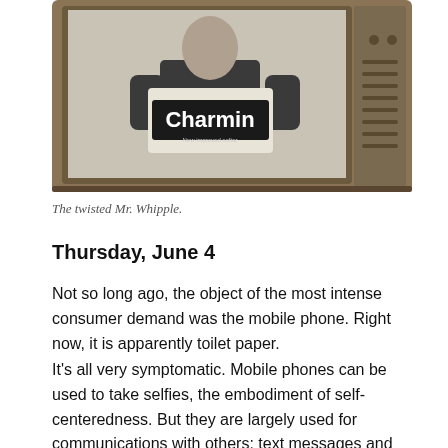[Figure (photo): Black and white photo of a man in a suit holding a Charmin toilet paper package, displayed inside an old vintage television set frame.]
The twisted Mr. Whipple.
Thursday, June 4
Not so long ago, the object of the most intense consumer demand was the mobile phone. Right now, it is apparently toilet paper.
It's all very symptomatic. Mobile phones can be used to take selfies, the embodiment of self-centeredness. But they are largely used for communications with others: text messages and e-mail, posting musings on Twitter, and uploading photos for others to see on sites such as